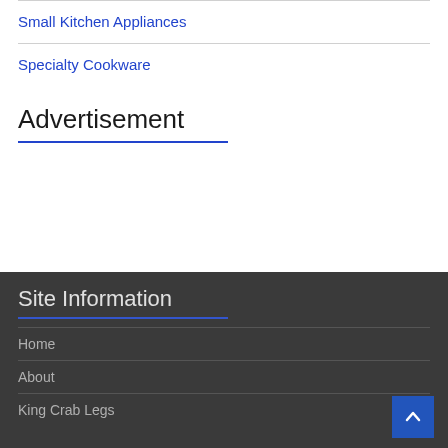Small Kitchen Appliances
Specialty Cookware
Advertisement
Site Information
Home
About
King Crab Legs